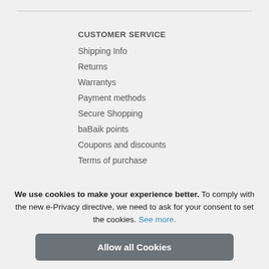CUSTOMER SERVICE
Shipping Info
Returns
Warrantys
Payment methods
Secure Shopping
baBaik points
Coupons and discounts
Terms of purchase
ABOUT BABAIK
Sustainability
About us
We use cookies to make your experience better. To comply with the new e-Privacy directive, we need to ask for your consent to set the cookies. See more.
Allow all Cookies